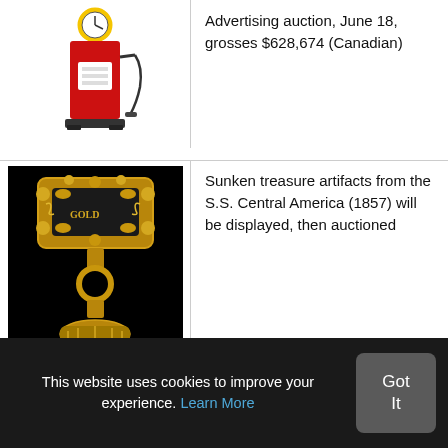[Figure (photo): Red vintage gas pump with clock display on top, on white background]
Advertising auction, June 18, grosses $628,674 (Canadian)
[Figure (photo): Gold ornate sunken treasure artifact from S.S. Central America against black background]
Sunken treasure artifacts from the S.S. Central America (1857) will be displayed, then auctioned
[Figure (photo): Partial view of item at bottom of page]
Dazzling 9.22-carat diamond ring
This website uses cookies to improve your experience. Learn More
Got It